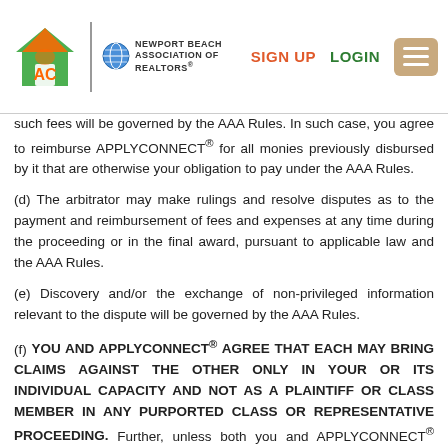APPLYCONNECT® | Newport Beach Association of Realtors® | SIGN UP | LOGIN
such fees will be governed by the AAA Rules. In such case, you agree to reimburse APPLYCONNECT® for all monies previously disbursed by it that are otherwise your obligation to pay under the AAA Rules.
(d) The arbitrator may make rulings and resolve disputes as to the payment and reimbursement of fees and expenses at any time during the proceeding or in the final award, pursuant to applicable law and the AAA Rules.
(e) Discovery and/or the exchange of non-privileged information relevant to the dispute will be governed by the AAA Rules.
(f) YOU AND APPLYCONNECT® AGREE THAT EACH MAY BRING CLAIMS AGAINST THE OTHER ONLY IN YOUR OR ITS INDIVIDUAL CAPACITY AND NOT AS A PLAINTIFF OR CLASS MEMBER IN ANY PURPORTED CLASS OR REPRESENTATIVE PROCEEDING. Further, unless both you and APPLYCONNECT® agree otherwise, the arbitrator may not consolidate more than one person's claims, and may not otherwise preside over any form of a representative or class proceeding. The arbitrator may award injunctive relief only in favor of the individual party seeking relief and only to the extent necessary to